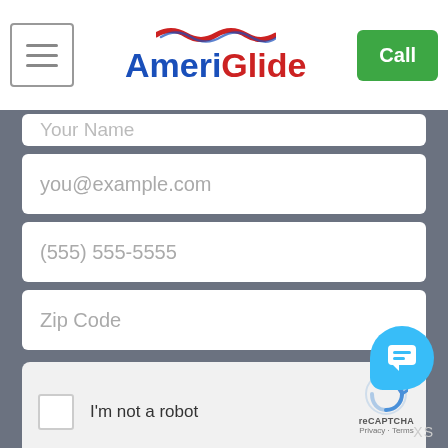[Figure (logo): AmeriGlide logo with blue and red text and a wave graphic above]
Your Name
you@example.com
(555) 555-5555
Zip Code
[Figure (other): reCAPTCHA widget: checkbox with I'm not a robot text and reCAPTCHA logo]
Submit
By entering your email, you're allowing AmeriGlide to occasionally email you helpful marketing resources and offers. You can unsubscribe at any time.
XS